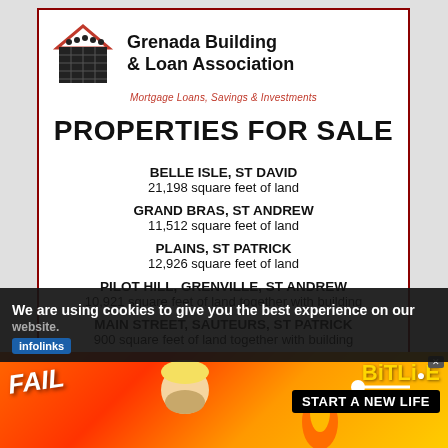[Figure (logo): Grenada Building & Loan Association logo with building/bricks icon and red roof]
PROPERTIES FOR SALE
BELLE ISLE, ST DAVID
21,198 square feet of land
GRAND BRAS, ST ANDREW
11,512 square feet of land
PLAINS, ST PATRICK
12,926 square feet of land
PILOT HILL, GRENVILLE, ST ANDREW
10,921 square feet of land together with building
MAIN STREET, SAUTEURS, ST PATRICK
900 square feet of land together with building
Contact 440-2108 / 459-2103
We are using cookies to give you the best experience on our website.
[Figure (illustration): BitLife game advertisement banner showing FAIL text, cartoon character facepalm, flames, and BitLife logo with START A NEW LIFE CTA]